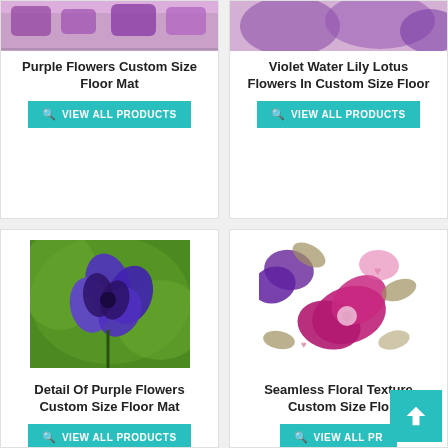[Figure (photo): Partial view of purple flowers custom size floor mat product image at top of card]
Purple Flowers Custom Size Floor Mat
VIEW ALL PRODUCTS
[Figure (photo): Violet Water Lily Lotus flowers product image at top of card (partially visible)]
Violet Water Lily Lotus Flowers In Custom Size Floor
VIEW ALL PRODUCTS
[Figure (photo): Detail photo of a bright purple violet flower against green blurred background]
Detail Of Purple Flowers Custom Size Floor Mat
VIEW ALL PRODUCTS
[Figure (illustration): Seamless floral texture illustration with purple and magenta flowers and grey-brown leaves on white background]
Seamless Floral Texture Custom Size Flo
VIEW ALL PR